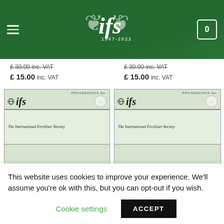[Figure (screenshot): IFS website header with green background, hamburger menu icon on left, IFS logo (1947-2022) centered with laurel wreath, cart icon with 0 on right]
£ 30.00 inc. VAT
£ 15.00 inc. VAT
£ 30.00 inc. VAT
£ 15.00 inc. VAT
[Figure (photo): IFS Proceedings book cover - green/mint colored with globe icon, 'ifs' logo, 'The International Fertiliser Society', 'A Proceedings of the International Fertiliser Society', 'By an invited author']
[Figure (photo): IFS Proceedings book cover - green/mint colored with globe icon, 'ifs' logo, 'The International Fertiliser Society', 'A Proceedings of the International Fertiliser Society', 'By an invited author']
This website uses cookies to improve your experience. We'll assume you're ok with this, but you can opt-out if you wish.
Cookie settings
ACCEPT